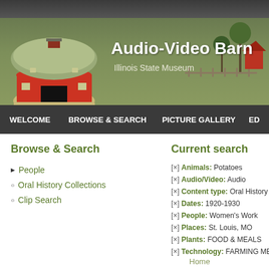[Figure (illustration): Audio-Video Barn website header with illustrated round red barn, green dome roof, and farm background scene. Illinois State Museum branding.]
Audio-Video Barn
Illinois State Museum
WELCOME   BROWSE & SEARCH   PICTURE GALLERY   ED
Browse & Search
People
Oral History Collections
Clip Search
Current search
[×] Animals: Potatoes
[×] Audio/Video: Audio
[×] Content type: Oral History Clip
[×] Dates: 1920-1930
[×] People: Women's Work
[×] Places: St. Louis, MO
[×] Plants: FOOD & MEALS
[×] Technology: FARMING METHO
Home